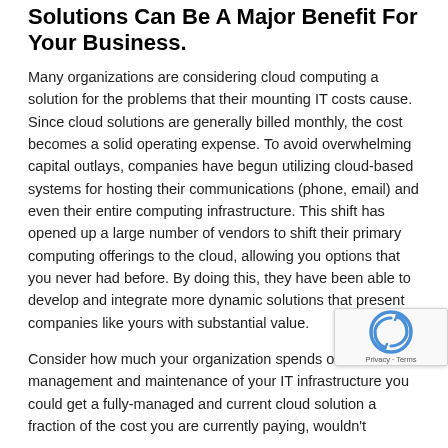Solutions Can Be A Major Benefit For Your Business.
Many organizations are considering cloud computing a solution for the problems that their mounting IT costs cause. Since cloud solutions are generally billed monthly, the cost becomes a solid operating expense. To avoid overwhelming capital outlays, companies have begun utilizing cloud-based systems for hosting their communications (phone, email) and even their entire computing infrastructure. This shift has opened up a large number of vendors to shift their primary computing offerings to the cloud, allowing you options that you never had before. By doing this, they have been able to develop and integrate more dynamic solutions that present companies like yours with substantial value.
Consider how much your organization spends on the management and maintenance of your IT infrastructure you could get a fully-managed and current cloud solution a fraction of the cost you are currently paying, wouldn't